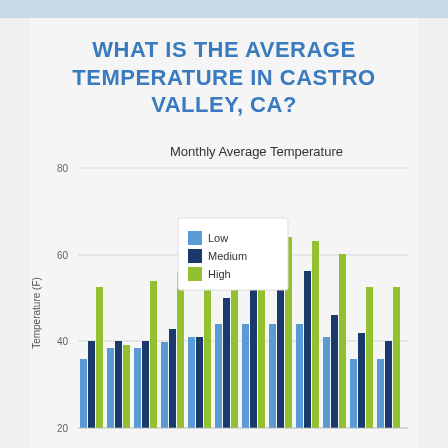WHAT IS THE AVERAGE TEMPERATURE IN CASTRO VALLEY, CA?
[Figure (grouped-bar-chart): Monthly Average Temperature]